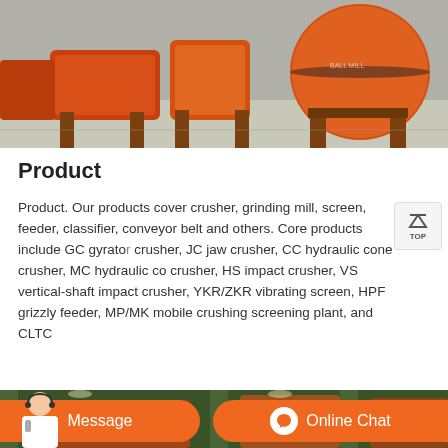[Figure (photo): Industrial machinery — large orange ball mills and crushing equipment on a factory floor]
Product
Product. Our products cover crusher, grinding mill, screen, feeder, classifier, conveyor belt and others. Core products include GC gyratory crusher, JC jaw crusher, CC hydraulic cone crusher, MC hydraulic cone crusher, HS impact crusher, VS vertical-shaft impact crusher, YKR/ZKR vibrating screen, HPF grizzly feeder, MP/MK mobile crushing screening plant, and CLTC
[Figure (photo): Factory interior with green pillars and orange industrial equipment, partially visible]